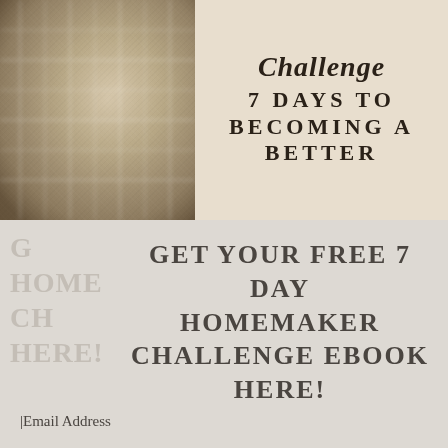[Figure (photo): Top-left panel: blurred close-up photo of a textured cream/beige knitted or woven fabric]
Challenge
7 DAYS TO BECOMING A BETTER
GET YOUR FREE 7 DAY HOMEMAKER CHALLENGE EBOOK HERE!
Email Address